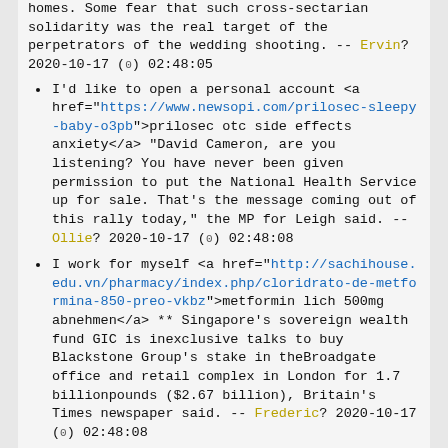homes. Some fear that such cross-sectarian solidarity was the real target of the perpetrators of the wedding shooting. -- Ervin? 2020-10-17 (0) 02:48:05
I'd like to open a personal account <a href="https://www.newsopi.com/prilosec-sleepy-baby-o3pb">prilosec otc side effects anxiety</a> "David Cameron, are you listening? You have never been given permission to put the National Health Service up for sale. That's the message coming out of this rally today," the MP for Leigh said. -- Ollie? 2020-10-17 (0) 02:48:08
I work for myself <a href="http://sachihouse.edu.vn/pharmacy/index.php/cloridrato-de-metformina-850-preo-vkbz">metformin lich 500mg abnehmen</a> ** Singapore's sovereign wealth fund GIC is inexclusive talks to buy Blackstone Group's stake in theBroadgate office and retail complex in London for 1.7 billionpounds ($2.67 billion), Britain's Times newspaper said. -- Frederic? 2020-10-17 (0) 02:48:08
We used to work together <a href="https://reklametotaal.nl/stud-100-spray-online-india-0t6z">stud 1000 spray price in india</a> Multiple sclerosis (MS) is most common in North America andEurope, at 140 and 108 cases per 100,000 respectively, while insub-